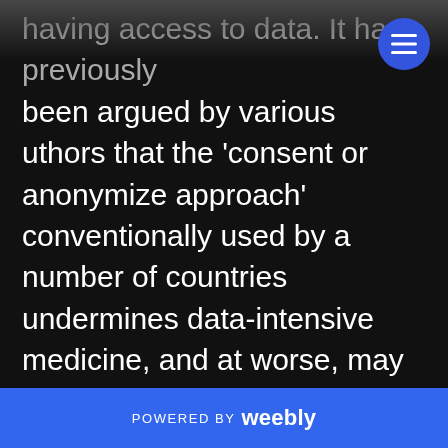having access to data. It has previously been argued by various uthors that the 'consent or anonymize approach' conventionally used by a number of countries undermines data-intensive medicine, and at worse, may end up causing patient harm. Yet this is still the dominant approach in most European countries. In this paper we take the debate a step further by reviewing the different ethical/legal grounds and their advantages and disadvantages in the context of medical AI. We provide a practical overview of the ethical trade-offs inherent to data-
POWERED BY weebly